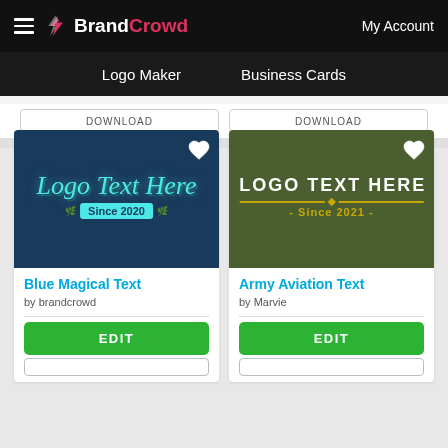BrandCrowd — Logo Maker | Business Cards | My Account
[Figure (screenshot): BrandCrowd logo maker interface showing two logo template cards: 'Blue Magical Text' by brandcrowd and 'Army Aviation Text' by Marvie, each with heart/favorite icon, EDIT button, and partial download button. Navigation includes Logo Maker and Business Cards tabs.]